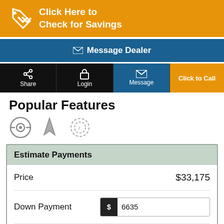[Figure (infographic): Orange banner with tag icon and text 'Click Here to Check for Savings']
[Figure (infographic): Blue 'Message Dealer' button with envelope icon]
[Figure (infographic): Navigation bar with Share, Login, Message (active), and Click to Call buttons]
Popular Features
[Figure (infographic): Three feature icons: camera/360 view, navigation/compass, and audio/music]
| Field | Value |
| --- | --- |
| Price | $33,175 |
| Down Payment | 6635 |
| Term | 72 Months |